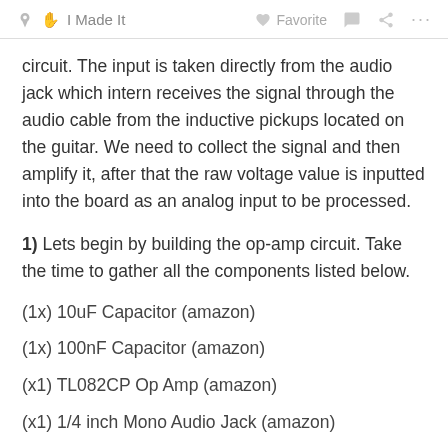I Made It   Favorite   ... ...
circuit. The input is taken directly from the audio jack which intern receives the signal through the audio cable from the inductive pickups located on the guitar. We need to collect the signal and then amplify it, after that the raw voltage value is inputted into the board as an analog input to be processed.
1) Lets begin by building the op-amp circuit. Take the time to gather all the components listed below.
(1x) 10uF Capacitor (amazon)
(1x) 100nF Capacitor (amazon)
(x1) TL082CP Op Amp (amazon)
(x1) 1/4 inch Mono Audio Jack (amazon)